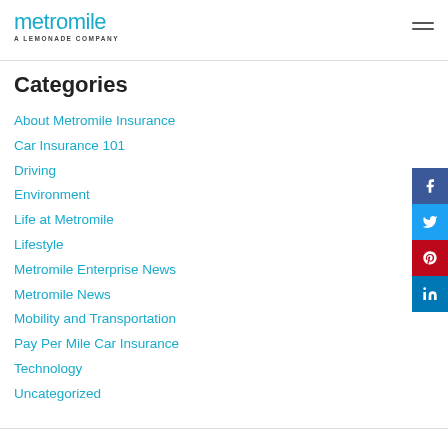metromile A LEMONADE COMPANY
Categories
About Metromile Insurance
Car Insurance 101
Driving
Environment
Life at Metromile
Lifestyle
Metromile Enterprise News
Metromile News
Mobility and Transportation
Pay Per Mile Car Insurance
Technology
Uncategorized